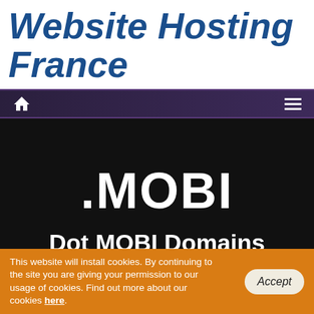Website Hosting France
[Figure (screenshot): Navigation bar with home icon on left and hamburger menu icon on right, dark purple gradient background]
.MOBI
Dot MOBI Domains
This website will install cookies. By continuing to the site you are giving your permission to our usage of cookies. Find out more about our cookies here.